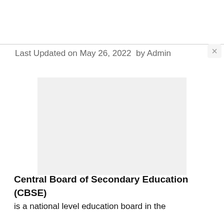Last Updated on May 26, 2022  by Admin
[Figure (other): Grey placeholder advertisement or image box]
Central Board of Secondary Education (CBSE) is a national level education board in the...